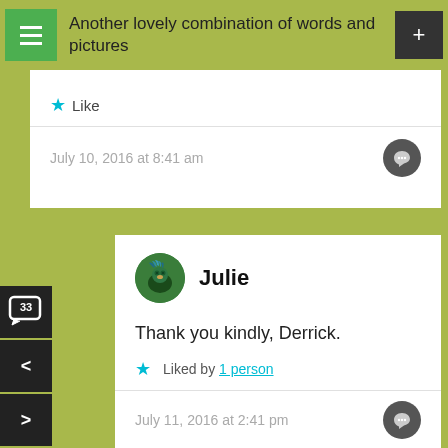Another lovely combination of words and pictures
Like
July 10, 2016 at 8:41 am
Julie
Thank you kindly, Derrick.
Liked by 1 person
July 11, 2016 at 2:41 pm